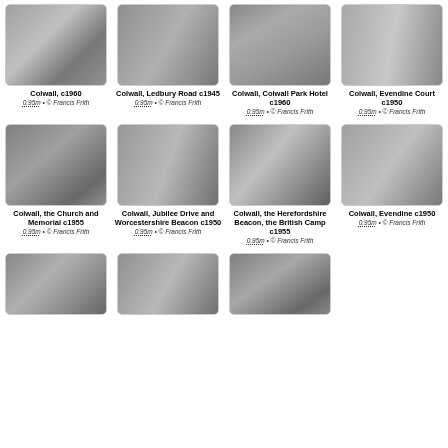[Figure (photo): Black and white photo of Colwall village road with trees, c1960]
Colwall, c1960
0.95m • © Francis Frith
[Figure (photo): Black and white photo of Colwall Ledbury Road with a bridge, c1945]
Colwall, Ledbury Road c1945
0.95m • © Francis Frith
[Figure (photo): Black and white photo of Colwall Park Hotel, c1960]
Colwall, Colwall Park Hotel c1960
0.95m • © Francis Frith
[Figure (photo): Black and white photo of Colwall Evendine Court, c1950]
Colwall, Evendine Court c1950
0.95m • © Francis Frith
[Figure (photo): Black and white photo of Colwall church and memorial, c1955]
Colwall, the Church and Memorial c1955
0.95m • © Francis Frith
[Figure (photo): Black and white photo of Colwall Jubilee Drive and Worcestershire Beacon, c1950]
Colwall, Jubilee Drive and Worcestershire Beacon c1950
0.95m • © Francis Frith
[Figure (photo): Black and white photo of Colwall the Herefordshire Beacon the British Camp, c1955]
Colwall, the Herefordshire Beacon, the British Camp c1955
0.95m • © Francis Frith
[Figure (photo): Black and white photo of Colwall Evendine, c1950]
Colwall, Evendine c1950
0.95m • © Francis Frith
[Figure (photo): Black and white partial photo (row 3, col 1)]
[Figure (photo): Black and white partial photo (row 3, col 2)]
[Figure (photo): Black and white partial photo (row 3, col 3)]